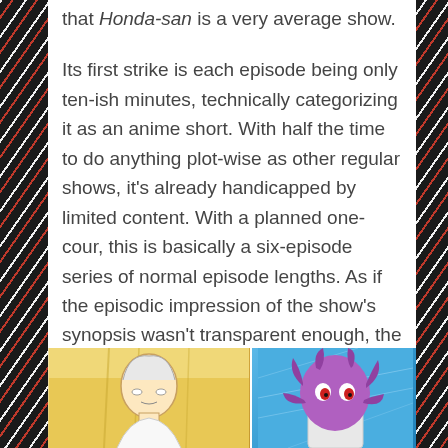that Honda-san is a very average show.
Its first strike is each episode being only ten-ish minutes, technically categorizing it as an anime short. With half the time to do anything plot-wise as other regular shows, it's already handicapped by limited content. With a planned one-cour, this is basically a six-episode series of normal episode lengths. As if the episodic impression of the show's synopsis wasn't transparent enough, the "anime short" vibe it gives off makes it all the more obvious.
[Figure (illustration): Two anime-style character panels side by side. Left panel shows a sketch of an anime character on a warm yellow/golden background. Right panel shows a character with an octopus-like head/mask on a blue background.]